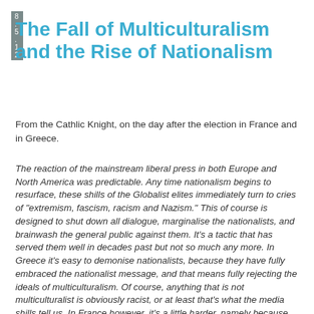8.5.12
The Fall of Multiculturalism and the Rise of Nationalism
From the Cathlic Knight, on the day after the election in France and in Greece.
The reaction of the mainstream liberal press in both Europe and North America was predictable. Any time nationalism begins to resurface, these shills of the Globalist elites immediately turn to cries of "extremism, fascism, racism and Nazism." This of course is designed to shut down all dialogue, marginalise the nationalists, and brainwash the general public against them. It's a tactic that has served them well in decades past but not so much any more. In Greece it's easy to demonise nationalists, because they have fully embraced the nationalist message, and that means fully rejecting the ideals of multiculturalism. Of course, anything that is not multiculturalist is obviously racist, or at least that's what the media shills tell us. In France however, it's a little harder, namely because the French have